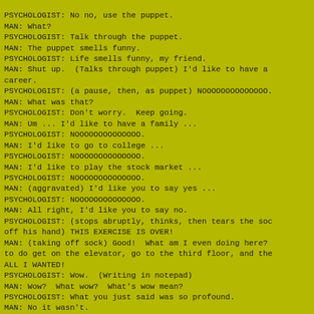PSYCHOLOGIST: No no, use the puppet.
MAN: What?
PSYCHOLOGIST: Talk through the puppet.
MAN: The puppet smells funny.
PSYCHOLOGIST: Life smells funny, my friend.
MAN: Shut up.  (Talks through puppet) I'd like to have a career.
PSYCHOLOGIST: (a pause, then, as puppet) NOOOOOOOOOOOOOO.
MAN: What was that?
PSYCHOLOGIST: Don't worry.  Keep going.
MAN: Um ... I'd like to have a family ...
PSYCHOLOGIST: NOOOOOOOOOOOOOO.
MAN: I'd like to go to college ...
PSYCHOLOGIST: NOOOOOOOOOOOOOO.
MAN: I'd like to play the stock market ...
PSYCHOLOGIST: NOOOOOOOOOOOOOO.
MAN: (aggravated) I'd like you to say yes ...
PSYCHOLOGIST: NOOOOOOOOOOOOOO.
MAN: All right, I'd like you to say no.
PSYCHOLOGIST: (stops abruptly, thinks, then tears the soc off his hand) THIS EXERCISE IS OVER!
MAN: (taking off sock) Good!  What am I even doing here? to do get on the elevator, go to the third floor, and the ALL I WANTED!
PSYCHOLOGIST: Wow.  (Writing in notepad)
MAN: Wow?  What wow?  What's wow mean?
PSYCHOLOGIST: What you just said was so profound.
MAN: No it wasn't.
PSYCHOLOGIST: I think you know what's wrong with you.
MAN: NO I DON'T!